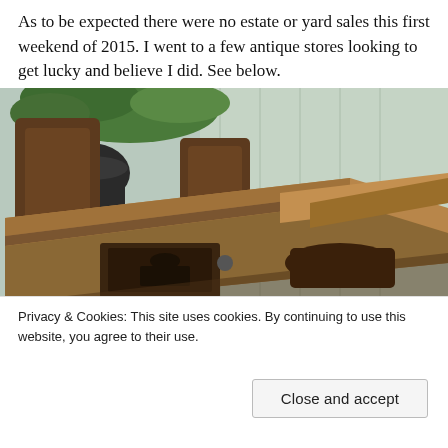As to be expected there were no estate or yard sales this first weekend of 2015. I went to a few antique stores looking to get lucky and believe I did. See below.
[Figure (photo): Antique wooden school desks and chairs stacked together, photographed in a warm vintage style.]
Privacy & Cookies: This site uses cookies. By continuing to use this website, you agree to their use.
To find out more, including how to control cookies, see here: Cookie Policy
[Figure (photo): Partial view of another antique item at the bottom of the page.]